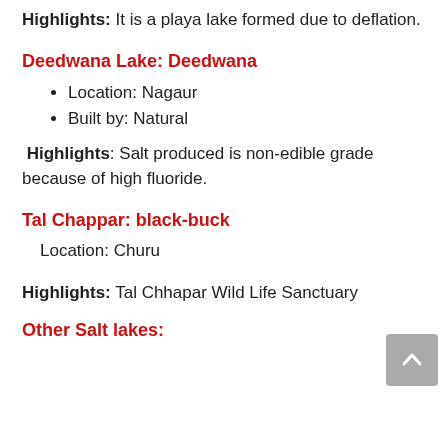Highlights: It is a playa lake formed due to deflation.
Deedwana Lake: Deedwana
Location: Nagaur
Built by: Natural
Highlights: Salt produced is non-edible grade because of high fluoride.
Tal Chappar: black-buck
Location: Churu
Highlights: Tal Chhapar Wild Life Sanctuary
Other Salt lakes: